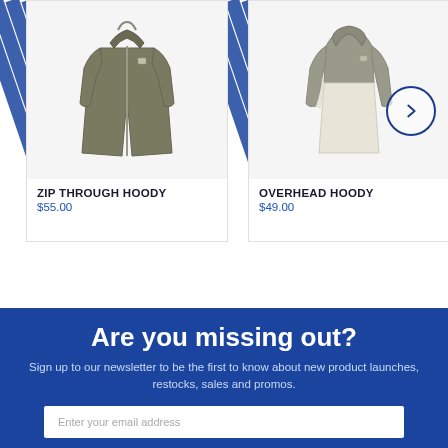[Figure (photo): Zip Through Hoody - olive/grey zip-up hoodie product photo]
ZIP THROUGH HOODY
$55.00
[Figure (photo): Overhead Hoody - beige/tan overhead hoodie product photo]
OVERHEAD HOODY
$49.00
Are you missing out?
Sign up to our newsletter to be the first to know about new product launches, restocks, sales and promos.
Enter your email address